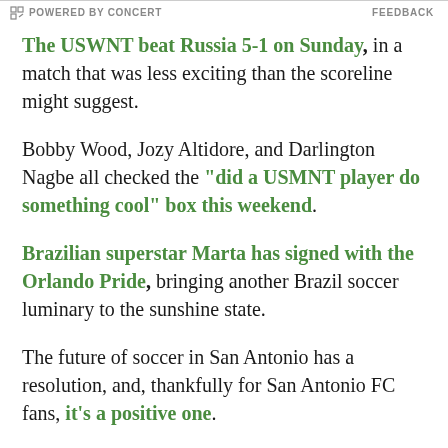POWERED BY CONCERT    FEEDBACK
The USWNT beat Russia 5-1 on Sunday, in a match that was less exciting than the scoreline might suggest.
Bobby Wood, Jozy Altidore, and Darlington Nagbe all checked the "did a USMNT player do something cool" box this weekend.
Brazilian superstar Marta has signed with the Orlando Pride, bringing another Brazil soccer luminary to the sunshine state.
The future of soccer in San Antonio has a resolution, and, thankfully for San Antonio FC fans, it's a positive one.
Seattle: